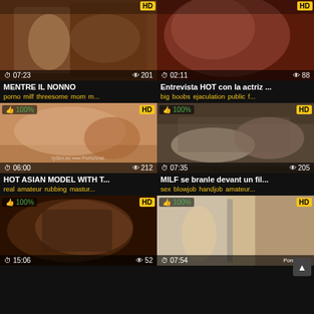[Figure (screenshot): Video thumbnail grid showing adult video website with 6 video thumbnails arranged in 2 columns and 3 rows]
MENTRE IL NONNO
porno milf threesome mom m...
Entrevista HOT con la actriz ...
big boobs ejaculation public f...
HOT ASIAN MODEL WITH T...
real amateur rubbing mastur...
MILF se branle devant un fil...
sex blowjob handjob amateur...